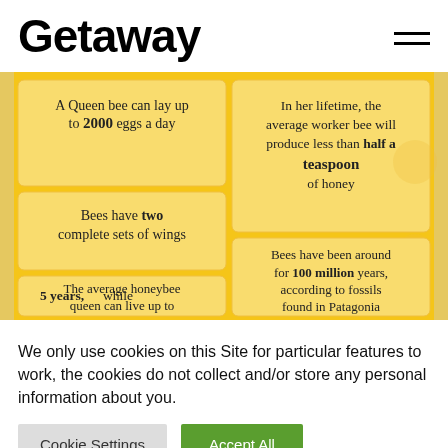Getaway
[Figure (infographic): Yellow bee facts infographic with 4 panels: (1) A Queen bee can lay up to 2000 eggs a day; (2) In her lifetime, the average worker bee will produce less than half a teaspoon of honey; (3) Bees have two complete sets of wings; (4) The average honeybee queen can live up to 5 years, while; Bees have been around for 100 million years, according to fossils found in Patagonia]
We only use cookies on this Site for particular features to work, the cookies do not collect and/or store any personal information about you.
Cookie Settings   Accept All